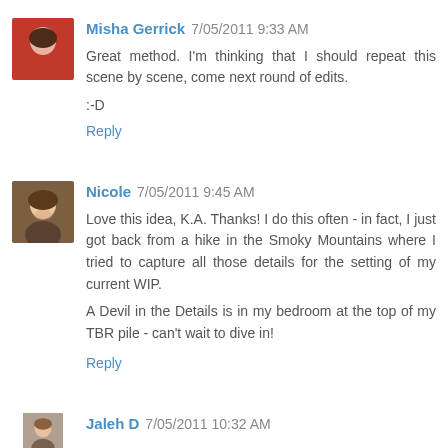[Figure (photo): Avatar photo of Misha Gerrick, woman with dark hair]
Misha Gerrick 7/05/2011 9:33 AM
Great method. I'm thinking that I should repeat this scene by scene, come next round of edits.

:-D
Reply
[Figure (photo): Avatar photo of Nicole, woman smiling]
Nicole 7/05/2011 9:45 AM
Love this idea, K.A. Thanks! I do this often - in fact, I just got back from a hike in the Smoky Mountains where I tried to capture all those details for the setting of my current WIP.

A Devil in the Details is in my bedroom at the top of my TBR pile - can't wait to dive in!
Reply
[Figure (photo): Partial avatar photo of Jaleh D]
Jaleh D 7/05/2011 10:32 AM